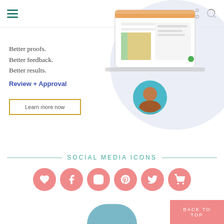[Figure (screenshot): Website navigation bar with hamburger menu icon on left, share and search icons on right]
[Figure (screenshot): Hero section showing a product screenshot/illustration of a review and approval interface with circular profile photo overlay on blue/lavender background]
Better proofs. Better feedback. Better results.
Review + Approval
Learn more now
SOCIAL MEDIA ICONS
[Figure (infographic): Row of 6 pink/salmon circular social media icons: heart (favorites), Facebook, Instagram, Pinterest, Twitter, shopping cart]
BACK TO TOP
[Figure (illustration): Blue curved shape at bottom center of page, partially visible]